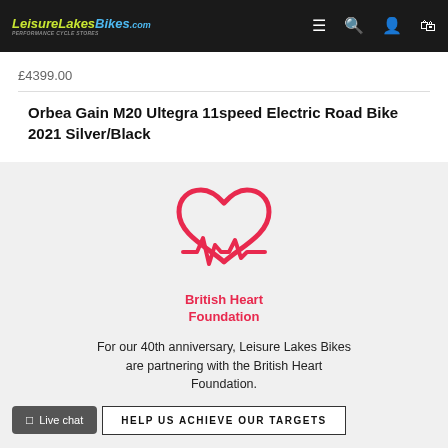LeisureLakesBikes.com
£4399.00
Orbea Gain M20 Ultegra 11speed Electric Road Bike 2021 Silver/Black
[Figure (logo): British Heart Foundation logo — red heart outline with heartbeat/ECG line at the base, and text 'British Heart Foundation' in red below]
For our 40th anniversary, Leisure Lakes Bikes are partnering with the British Heart Foundation.
HELP US ACHIEVE OUR TARGETS